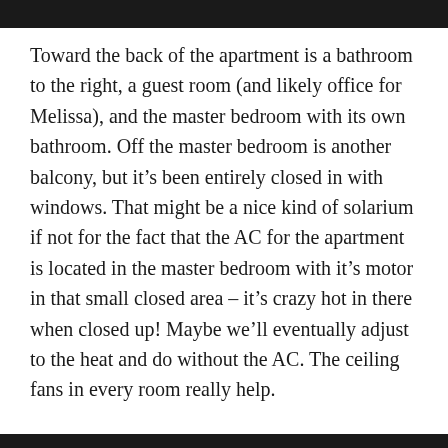Toward the back of the apartment is a bathroom to the right, a guest room (and likely office for Melissa), and the master bedroom with its own bathroom. Off the master bedroom is another balcony, but it’s been entirely closed in with windows. That might be a nice kind of solarium if not for the fact that the AC for the apartment is located in the master bedroom with it’s motor in that small closed area – it’s crazy hot in there when closed up! Maybe we’ll eventually adjust to the heat and do without the AC. The ceiling fans in every room really help.